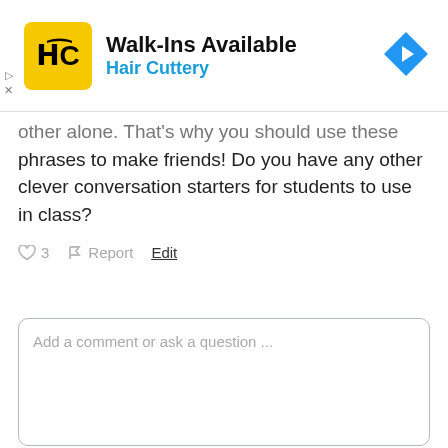[Figure (other): Hair Cuttery advertisement banner with logo (HC in yellow square), title 'Walk-Ins Available', subtitle 'Hair Cuttery', and a blue navigation arrow icon on the right. Small play and close controls on the left side.]
other alone. That's why you should use these phrases to make friends! Do you have any other clever conversation starters for students to use in class?
♥ 3   ⚑ Report   Edit
Add a comment or ask a question ...
Submit